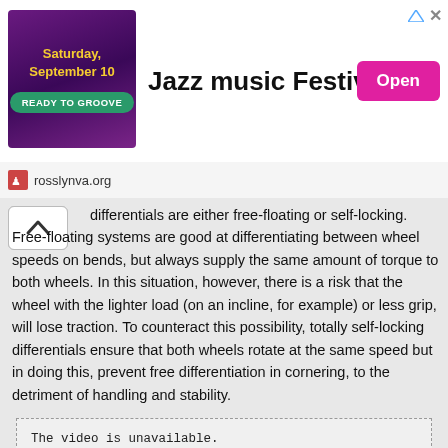[Figure (infographic): Jazz music Festival advertisement banner with purple/magenta poster image on left, bold title 'Jazz music Festival' in center, and pink 'Open' button on right. Ad attribution arrow icons top right.]
rosslynva.org
differentials are either free-floating or self-locking. Free-floating systems are good at differentiating between wheel speeds on bends, but always supply the same amount of torque to both wheels. In this situation, however, there is a risk that the wheel with the lighter load (on an incline, for example) or less grip, will lose traction. To counteract this possibility, totally self-locking differentials ensure that both wheels rotate at the same speed but in doing this, prevent free differentiation in cornering, to the detriment of handling and stability.
The video is unavailable.
To view videos, visit the desktop version.
Figure: Lancia Delta HF 4wd (84KB)
[Figure (illustration): Technical cutaway/engineering illustration of the Lancia Delta HF 4wd car showing internal mechanical components, with wiki.com watermark overlay.]